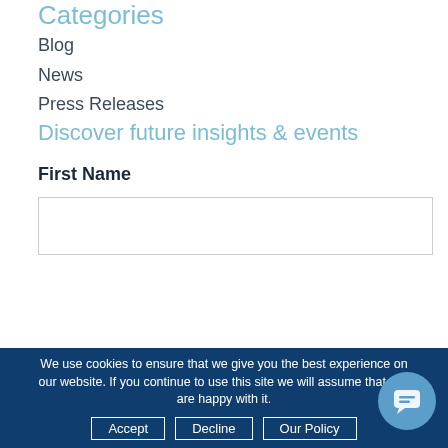Categories
Blog
News
Press Releases
Discover future insights & events
First Name
We use cookies to ensure that we give you the best experience on our website. If you continue to use this site we will assume that you are happy with it.
Accept | Decline | Our Policy